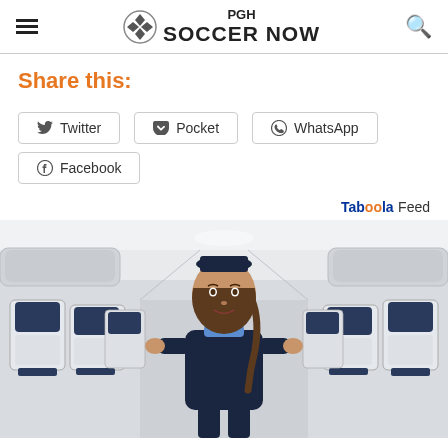PGH SOCCER NOW
Share this:
Twitter
Pocket
WhatsApp
Facebook
Taboola Feed
[Figure (photo): A flight attendant in a dark navy uniform with a blue scarf stands in the aisle of an airplane with white and navy seats on both sides.]